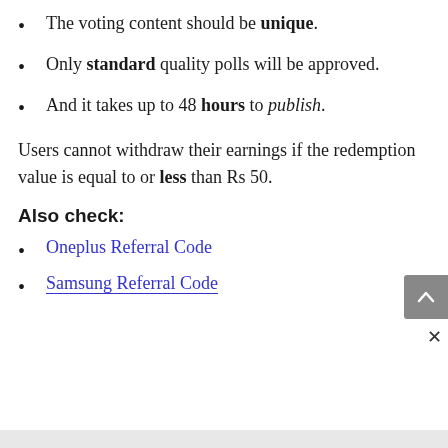The voting content should be unique.
Only standard quality polls will be approved.
And it takes up to 48 hours to publish.
Users cannot withdraw their earnings if the redemption value is equal to or less than Rs 50.
Also check:
Oneplus Referral Code
Samsung Referral Code